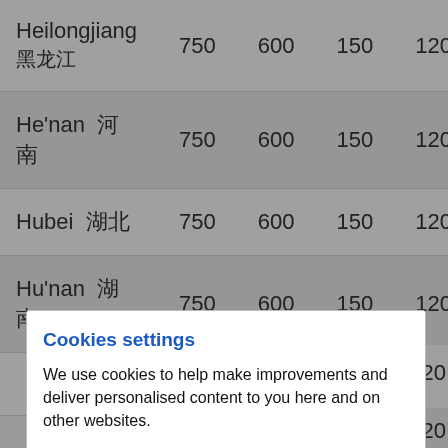| Region |  |  |  |  |
| --- | --- | --- | --- | --- |
| Heilongjiang 黑龙江 | 750 | 600 | 150 | 120 |
| He'nan 河南 | 750 | 600 | 150 | 120 |
| Hubei 湖北 | 750 | 600 | 150 | 120 |
| Hu'nan 湖南 | 750 | 600 | 150 | 120 |
Cookies settings
We use cookies to help make improvements and deliver personalised content to you here and on other websites.
You can control the types of cookies we set using the